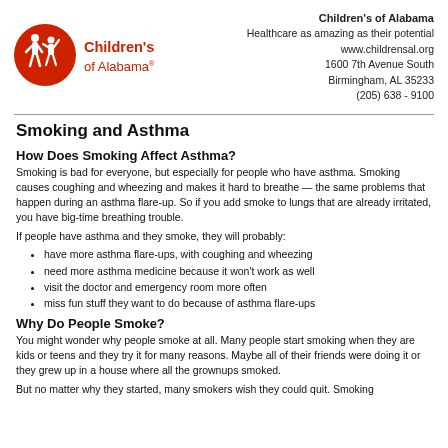[Figure (logo): Children's of Alabama logo: red circle with white child silhouettes and red text 'Children's of Alabama']
Children's of Alabama
Healthcare as amazing as their potential
www.childrensal.org
1600 7th Avenue South
Birmingham, AL 35233
(205) 638 - 9100
Smoking and Asthma
How Does Smoking Affect Asthma?
Smoking is bad for everyone, but especially for people who have asthma. Smoking causes coughing and wheezing and makes it hard to breathe — the same problems that happen during an asthma flare-up. So if you add smoke to lungs that are already irritated, you have big-time breathing trouble.
If people have asthma and they smoke, they will probably:
have more asthma flare-ups, with coughing and wheezing
need more asthma medicine because it won't work as well
visit the doctor and emergency room more often
miss fun stuff they want to do because of asthma flare-ups
Why Do People Smoke?
You might wonder why people smoke at all. Many people start smoking when they are kids or teens and they try it for many reasons. Maybe all of their friends were doing it or they grew up in a house where all the grownups smoked.
But no matter why they started, many smokers wish they could quit. Smoking